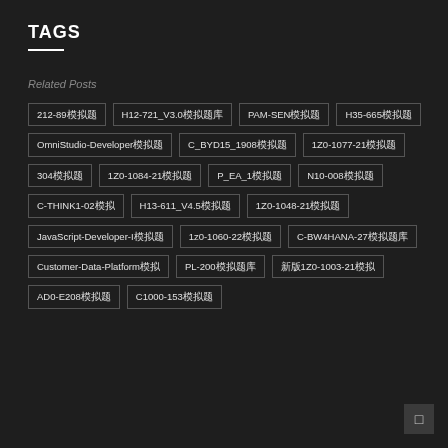TAGS
Related Posts
212-89模拟题
H12-721_V3.0模拟题库
PAM-SEN模拟题
H35-665模拟题
OmniStudio-Developer模拟题
C_BYD15_1908模拟题
1Z0-1077-21模拟题
304模拟题
1Z0-1084-21模拟题
P_EA_1模拟题
N10-008模拟题
C-THINK1-02模拟
H13-611_V4.5模拟题
1Z0-1048-21模拟题
JavaScript-Developer-I模拟题
1z0-1060-22模拟题
C-BW4HANA-27模拟题库
Customer-Data-Platform模拟
PL-200模拟题库
新版1Z0-1003-21模拟
AD0-E208模拟题
C1000-153模拟题